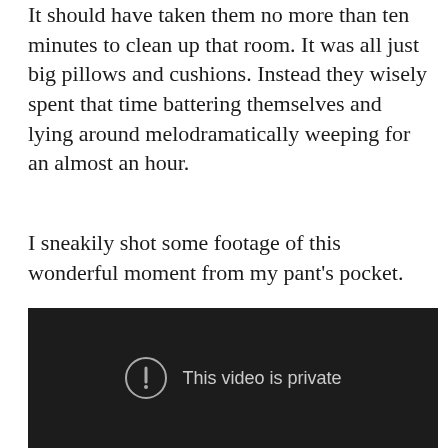It should have taken them no more than ten minutes to clean up that room. It was all just big pillows and cushions. Instead they wisely spent that time battering themselves and lying around melodramatically weeping for an almost an hour.
I sneakily shot some footage of this wonderful moment from my pant's pocket.
[Figure (screenshot): Embedded video player showing a dark/black screen with a circle-exclamation icon and the text 'This video is private']